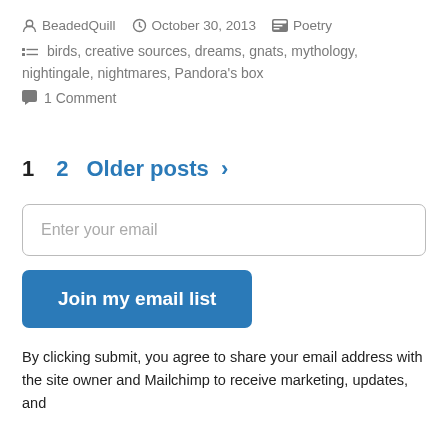BeadedQuill  October 30, 2013  Poetry
birds, creative sources, dreams, gnats, mythology, nightingale, nightmares, Pandora's box
1 Comment
1  2  Older posts >
Enter your email
Join my email list
By clicking submit, you agree to share your email address with the site owner and Mailchimp to receive marketing, updates, and